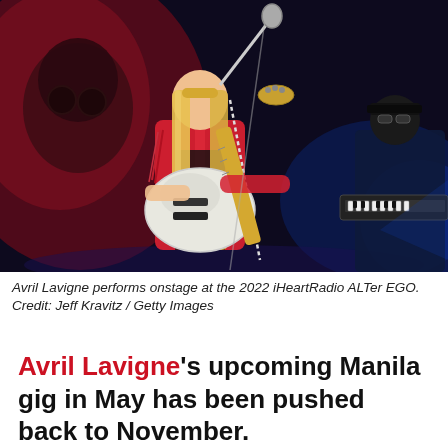[Figure (photo): Avril Lavigne performing onstage at the 2022 iHeartRadio ALTer EGO concert, playing a decorated white electric guitar, wearing a red jacket, with long blonde hair, singing into a microphone. Another musician visible in the background on the right.]
Avril Lavigne performs onstage at the 2022 iHeartRadio ALTer EGO. Credit: Jeff Kravitz / Getty Images
Avril Lavigne's upcoming Manila gig in May has been pushed back to November.